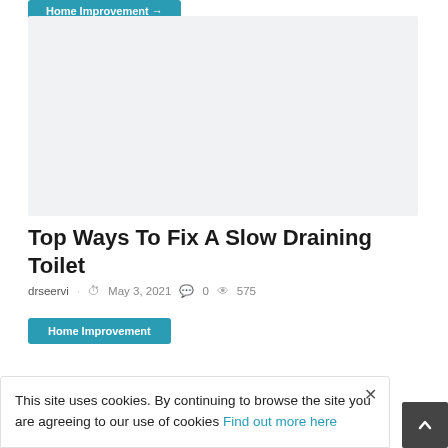Home Improvement
[Figure (photo): Gray placeholder image area for article thumbnail]
Top Ways To Fix A Slow Draining Toilet
drseervi  May 3, 2021  0  575
Home Improvement
This site uses cookies. By continuing to browse the site you are agreeing to our use of cookies Find out more here